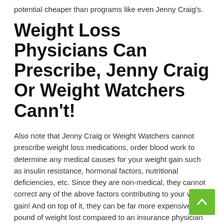potential cheaper than programs like even Jenny Craig's.
Weight Loss Physicians Can Prescribe, Jenny Craig Or Weight Watchers Cann't!
Also note that Jenny Craig or Weight Watchers cannot prescribe weight loss medications, order blood work to determine any medical causes for your weight gain such as insulin resistance, hormonal factors, nutritional deficiencies, etc. Since they are non-medical, they cannot correct any of the above factors contributing to your weight gain! And on top of it, they can be far more expensive per pound of weight lost compared to an insurance physician weight loss program that is safe, fast, effective and even much cheaper!